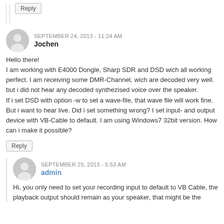Reply
SEPTEMBER 24, 2013 - 11:24 AM
Jochen
Hello there!
I am working with E4000 Dongle, Sharp SDR and DSD wich all working perfect. I am receiving some DMR-Channel, wich are decoded very well. but i did not hear any decoded synthezised voice over the speaker.
If i set DSD with option -w to set a wave-file, that wave file will work fine. But i want to hear live. Did i set something wrong? I set input- and output device with VB-Cable to default. I am using Windows7 32bit version. How can i make it possible?
Reply
SEPTEMBER 25, 2013 - 5:53 AM
admin
Hi, you only need to set your recording input to default to VB Cable, the playback output should remain as your speaker, that might be the